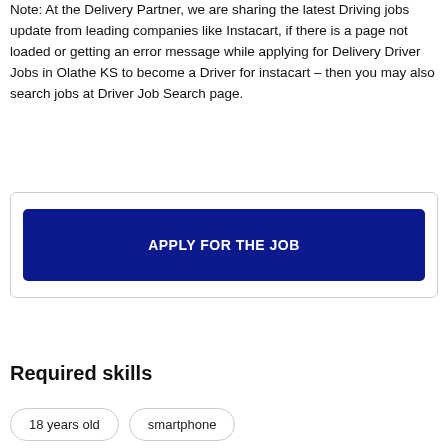Note: At the Delivery Partner, we are sharing the latest Driving jobs update from leading companies like Instacart, if there is a page not loaded or getting an error message while applying for Delivery Driver Jobs in Olathe KS to become a Driver for instacart – then you may also search jobs at Driver Job Search page.
[Figure (other): A bordered box containing a dark navy blue button labeled 'APPLY FOR THE JOB']
Required skills
18 years old
smartphone